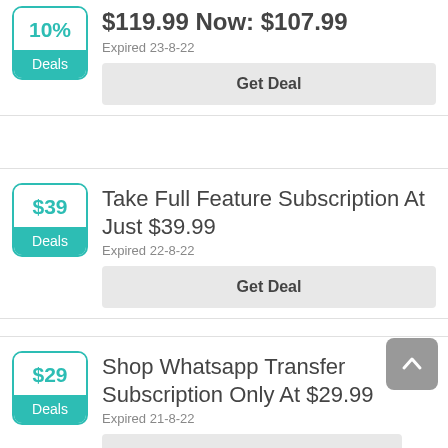$119.99 Now: $107.99
Expired 23-8-22
Get Deal
Take Full Feature Subscription At Just $39.99
Expired 22-8-22
Get Deal
Shop Whatsapp Transfer Subscription Only At $29.99
Expired 21-8-22
Get Deal